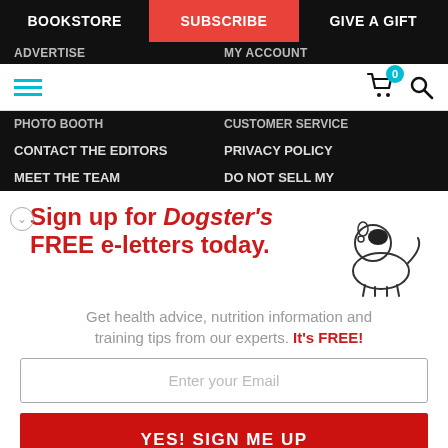BOOKSTORE | SUBSCRIBE | GIVE A GIFT
ADVERTISE | MY ACCOUNT
PHOTO BOOTH | CUSTOMER SERVICE
CONTACT THE EDITORS | PRIVACY POLICY
MEET THE TEAM | DO NOT SELL MY
Sign up for Dogster's FREE e-letters today.
Get health advice, nutrition information and training tips from our experts. It's FREE!
Enter your Email
YES! SIGN ME UP